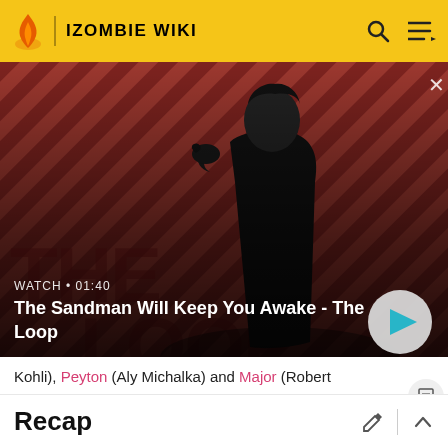IZOMBIE WIKI
[Figure (screenshot): Video thumbnail showing a man in dark clothing with a raven on his shoulder against a red diagonal striped background. Title reads 'The Sandman Will Keep You Awake - The Loop'. Watch time shown as 01:40.]
Kohli), Peyton (Aly Michalka) and Major (Robert Buckley) work together to help Liv (Rose McIver). David Anders a... Robert Knepper also star.[1]
Recap